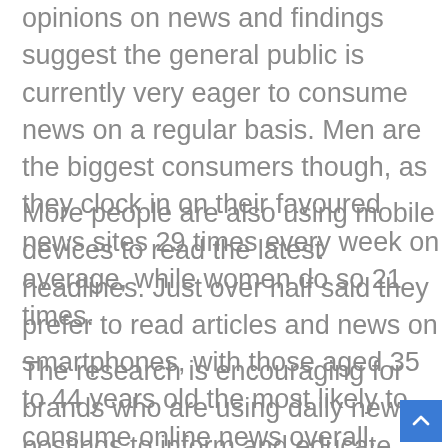opinions on news and findings suggest the general public is currently very eager to consume news on a regular basis. Men are the biggest consumers though, as they clock in on their favoured news sites 29 times every week on average, while women do so 21 times.
More people are also using mobile devices to read the latest headlines. Just over half said they prefer to read articles and news on smartphones, with those aged 35 to 44 years old the most likely to consume online news overall.
The research is encouraging for brands who are using daily news postings to inform and educate their audiences, and improve the visibility and authority of their websites. Even better is the fa...